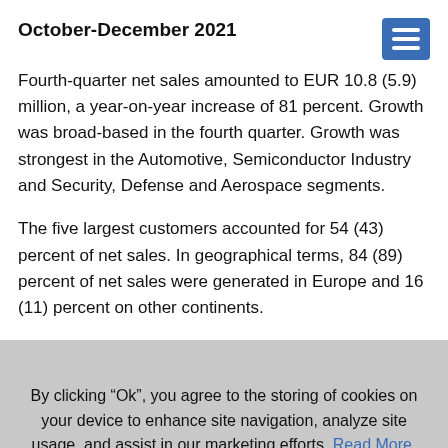October-December 2021
Fourth-quarter net sales amounted to EUR 10.8 (5.9) million, a year-on-year increase of 81 percent. Growth was broad-based in the fourth quarter. Growth was strongest in the Automotive, Semiconductor Industry and Security, Defense and Aerospace segments.
The five largest customers accounted for 54 (43) percent of net sales. In geographical terms, 84 (89) percent of net sales were generated in Europe and 16 (11) percent on other continents.
By clicking “Ok”, you agree to the storing of cookies on your device to enhance site navigation, analyze site usage, and assist in our marketing efforts. Read More.
Ok